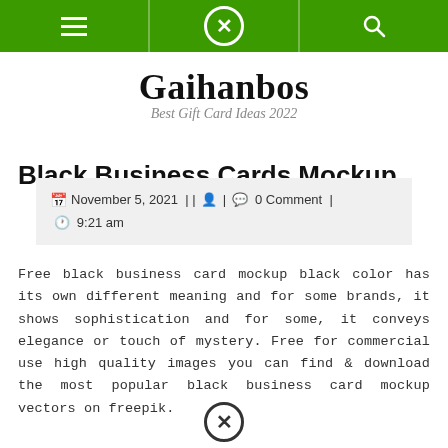Navigation bar with menu, close, and search icons
Gaihanbos
Best Gift Card Ideas 2022
Black Business Cards Mockup
November 5, 2021 | | | 0 Comment | 9:21 am
Free black business card mockup black color has its own different meaning and for some brands, it shows sophistication and for some, it conveys elegance or touch of mystery. Free for commercial use high quality images you can find & download the most popular black business card mockup vectors on freepik.